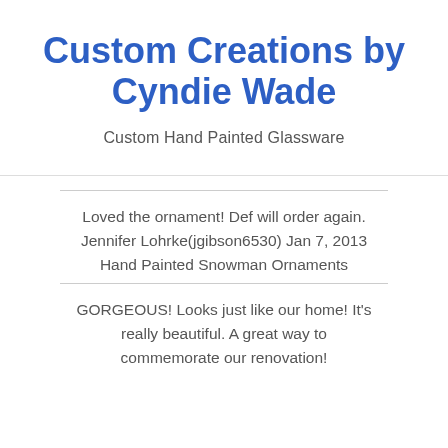Custom Creations by Cyndie Wade
Custom Hand Painted Glassware
Loved the ornament! Def will order again.
Jennifer Lohrke(jgibson6530) Jan 7, 2013
Hand Painted Snowman Ornaments
GORGEOUS! Looks just like our home! It's really beautiful. A great way to commemorate our renovation!